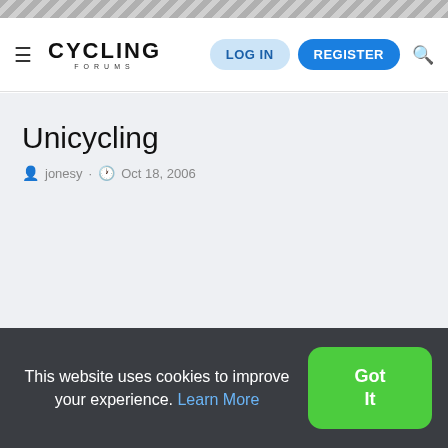[Figure (screenshot): Gray diagonal striped banner at the top of the page]
≡ CYCLING FORUMS  LOG IN  REGISTER 🔍
Unicycling
jonesy · Oct 18, 2006
This website uses cookies to improve your experience. Learn More
Got It